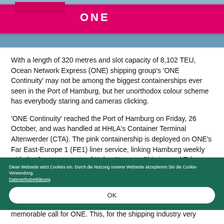[Figure (photo): Pink ONE containership photographed at port, showing bright magenta/pink hull with ONE logo, against grey water background.]
With a length of 320 metres and slot capacity of 8,102 TEU, Ocean Network Express (ONE) shipping group's 'ONE Continuity' may not be among the biggest containerships ever seen in the Port of Hamburg, but her unorthodox colour scheme has everybody staring and cameras clicking.
'ONE Continuity' reached the Port of Hamburg on Friday, 26 October, and was handled at HHLA's Container Terminal Altenwerder (CTA). The pink containership is deployed on ONE's Far East-Europe 1 (FE1) liner service, linking Hamburg weekly with the Japanese ports of Kobe, Nagoya, Shimizu and Tokyo. Additional ports served on a weekly basis by FE 1 are
Diese Webseite setzt Cookies ein. Durch die Nutzung unserer Webseite akzeptieren Sie die Cookie-Verwendung. Datenschutzerklärung
OK
memorable call for ONE. This, for the shipping industry very